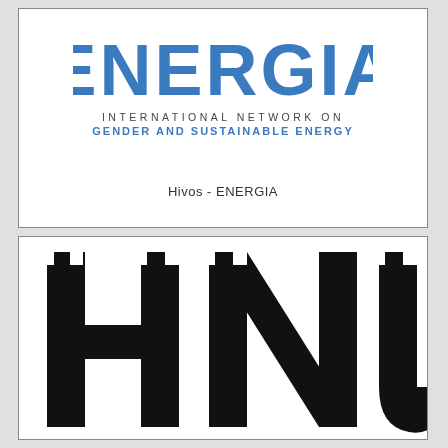[Figure (logo): ENERGIA International Network on Gender and Sustainable Energy logo with blue text]
Hivos - ENERGIA
[Figure (logo): HNU logo in large black block letters, partially cropped at bottom]